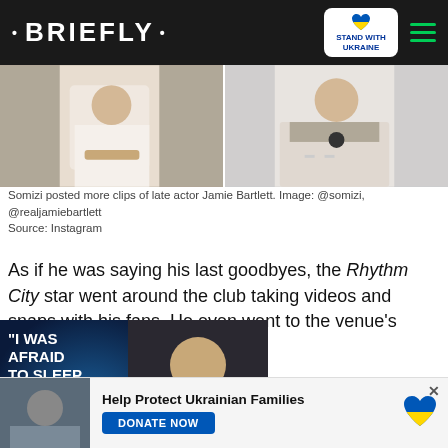• BRIEFLY •
[Figure (photo): Two-panel photo strip: left panel shows a person in white shirt holding a drink, right panel shows a person in patterned top with a necklace]
Somizi posted more clips of late actor Jamie Bartlett. Image: @somizi, @realjamiebartlett
Source: Instagram
As if he was saying his last goodbyes, the Rhythm City star went around the club taking videos and snaps with his fans. He even went to the venue's kitchen and took more clips with the staff.
[Figure (screenshot): Video thumbnail with text 'I WAS AFRAID TO SLEEP AT NIGHT' on dark background with play button overlay, showing a man in a suit with a tie]
[Figure (infographic): Bottom advertisement bar: Help Protect Ukrainian Families with DONATE NOW button and Ukrainian heart flag icon]